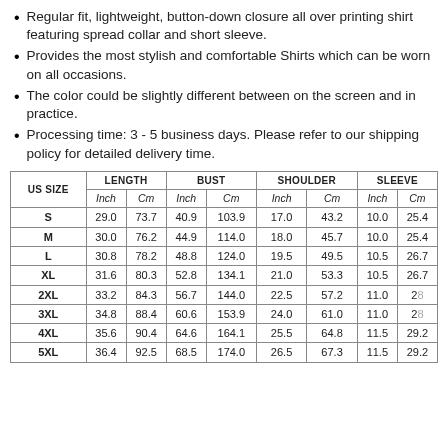Regular fit, lightweight, button-down closure all over printing shirt featuring spread collar and short sleeve.
Provides the most stylish and comfortable Shirts which can be worn on all occasions.
The color could be slightly different between on the screen and in practice.
Processing time: 3 - 5 business days. Please refer to our shipping policy for detailed delivery time.
| US SIZE | LENGTH (Inch) | LENGTH (Cm) | BUST (Inch) | BUST (Cm) | SHOULDER (Inch) | SHOULDER (Cm) | SLEEVE (Inch) | SLEEVE (Cm) |
| --- | --- | --- | --- | --- | --- | --- | --- | --- |
| S | 29.0 | 73.7 | 40.9 | 103.9 | 17.0 | 43.2 | 10.0 | 25.4 |
| M | 30.0 | 76.2 | 44.9 | 114.0 | 18.0 | 45.7 | 10.0 | 25.4 |
| L | 30.8 | 78.2 | 48.8 | 124.0 | 19.5 | 49.5 | 10.5 | 26.7 |
| XL | 31.6 | 80.3 | 52.8 | 134.1 | 21.0 | 53.3 | 10.5 | 26.7 |
| 2XL | 33.2 | 84.3 | 56.7 | 144.0 | 22.5 | 57.2 | 11.0 | 28 |
| 3XL | 34.8 | 88.4 | 60.6 | 153.9 | 24.0 | 61.0 | 11.0 | 28 |
| 4XL | 35.6 | 90.4 | 64.6 | 164.1 | 25.5 | 64.8 | 11.5 | 29.2 |
| 5XL | 36.4 | 92.5 | 68.5 | 174.0 | 26.5 | 67.3 | 11.5 | 29.2 |